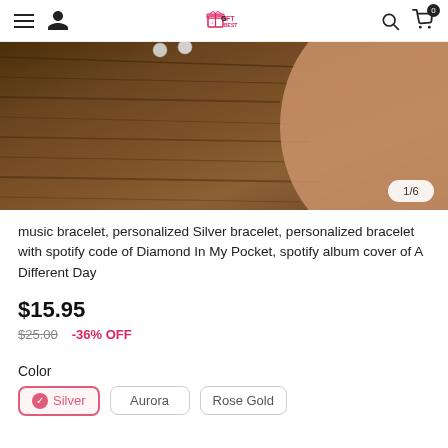GiftBest — navigation header with hamburger menu, user icon, logo, search icon, cart icon (0 items)
[Figure (photo): Close-up photo of a bracelet on a wooden surface with skin visible, showing pearl/silver beads. Image counter shows 1/6.]
music bracelet, personalized Silver bracelet, personalized bracelet with spotify code of Diamond In My Pocket, spotify album cover of A Different Day
$15.95
$25.00  -36% OFF
Color
Silver  Aurora  Rose Gold